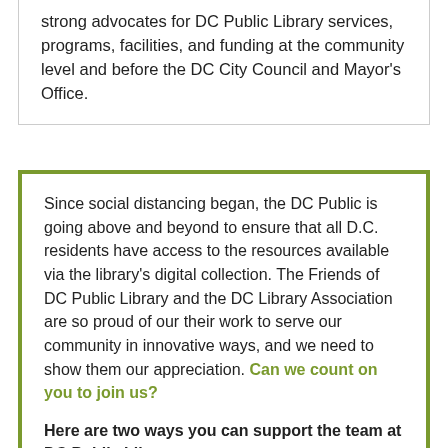strong advocates for DC Public Library services, programs, facilities, and funding at the community level and before the DC City Council and Mayor's Office.
Since social distancing began, the DC Public is going above and beyond to ensure that all D.C. residents have access to the resources available via the library's digital collection. The Friends of DC Public Library and the DC Library Association are so proud of our their work to serve our community in innovative ways, and we need to show them our appreciation. Can we count on you to join us?
Here are two ways you can support the team at DC Public Library:
1. If you don't have a card yet, sign up today! Visit: dclibrary.org/getacard